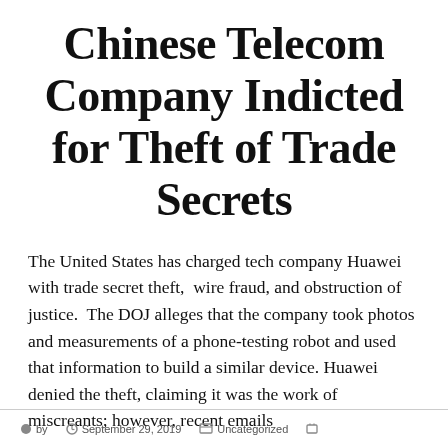Chinese Telecom Company Indicted for Theft of Trade Secrets
The United States has charged tech company Huawei with trade secret theft,  wire fraud, and obstruction of justice.  The DOJ alleges that the company took photos and measurements of a phone-testing robot and used that information to build a similar device. Huawei denied the theft, claiming it was the work of miscreants; however, recent emails
Continue reading.  →